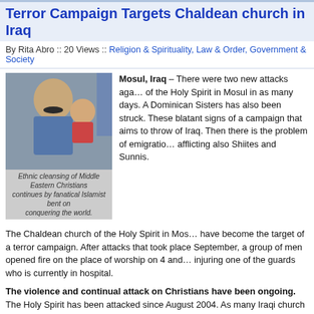Terror Campaign Targets Chaldean church in Iraq
By Rita Abro :: 20 Views :: Religion & Spirituality, Law & Order, Government & Society
[Figure (photo): A man and a child. Caption: Ethnic cleansing of Middle Eastern Christians continues by fanatical Islamist bent on conquering the world.]
Mosul, Iraq – There were two new attacks aga... of the Holy Spirit in Mosul in as many days. A Dominican Sisters has also been struck. These blatant signs of a campaign that aims to throw of Iraq. Then there is the problem of emigratio... afflicting also Shiites and Sunnis.
The Chaldean church of the Holy Spirit in Mos... have become the target of a terror campaign. After attacks that took place September, a group of men opened fire on the place of worship on 4 and injuring one of the guards who is currently in hospital.
The violence and continual attack on Christians have been ongoing. The Holy Spirit has been attacked since August 2004. As many Iraqi church fig... already claimed, the attacks are part of a twofold strategy.
Read More..
Pope and Chaldean Patriarch Meet
By Ziad Bitti :: 24 Views :: Religion & Spirituality, Government & Society, World News &